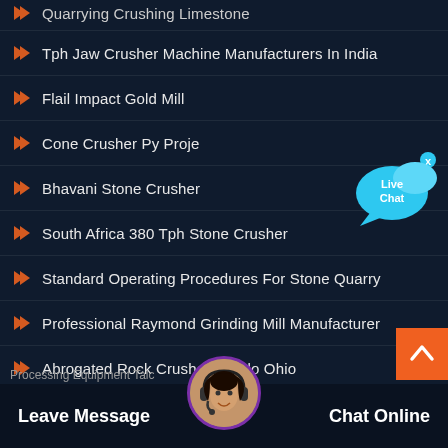Quarrying Crushing Limestone
Tph Jaw Crusher Machine Manufacturers In India
Flail Impact Gold Mill
Cone Crusher Py Proje
Bhavani Stone Crusher
South Africa 380 Tph Stone Crusher
Standard Operating Procedures For Stone Quarry
Professional Raymond Grinding Mill Manufacturer
Abrogated Rock Crusher Toledo Ohio
Bucke Tcrushers Sell
[Figure (illustration): Live Chat widget with two speech bubbles (cyan) and an X close button]
[Figure (illustration): Customer service avatar - woman with headset in circular frame]
Leave Message
Chat Online
Processing Equipment Talc